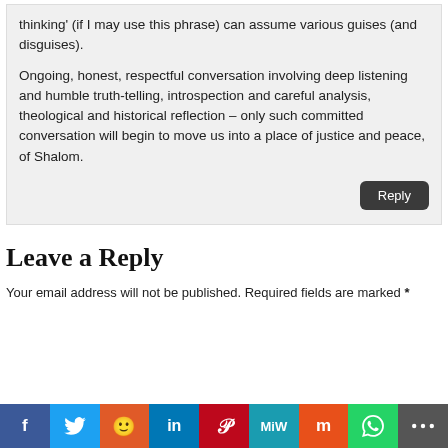thinking' (if I may use this phrase) can assume various guises (and disguises).
Ongoing, honest, respectful conversation involving deep listening and humble truth-telling, introspection and careful analysis, theological and historical reflection – only such committed conversation will begin to move us into a place of justice and peace, of Shalom.
Leave a Reply
Your email address will not be published. Required fields are marked *
[Figure (infographic): Social sharing bar with icons: Facebook, Twitter, Reddit, LinkedIn, Pinterest, MeWe, Mix, WhatsApp, More]